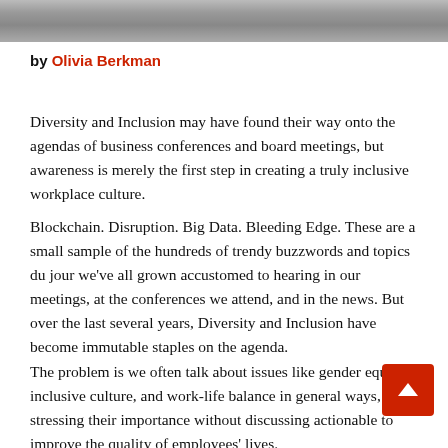[Figure (photo): Cropped photo strip at top of page showing people in a meeting or conference setting]
by Olivia Berkman
Diversity and Inclusion may have found their way onto the agendas of business conferences and board meetings, but awareness is merely the first step in creating a truly inclusive workplace culture.
Blockchain. Disruption. Big Data. Bleeding Edge. These are a small sample of the hundreds of trendy buzzwords and topics du jour we've all grown accustomed to hearing in our meetings, at the conferences we attend, and in the news. But over the last several years, Diversity and Inclusion have become immutable staples on the agenda.
The problem is we often talk about issues like gender equality, inclusive culture, and work-life balance in general ways, stressing their importance without discussing actionable to improve the quality of employees' lives.